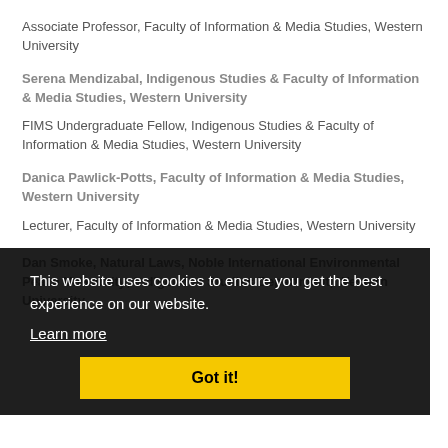Associate Professor, Faculty of Information & Media Studies, Western University
Serena Mendizabal, Indigenous Studies & Faculty of Information & Media Studies, Western University
FIMS Undergraduate Fellow, Indigenous Studies & Faculty of Information & Media Studies, Western University
Danica Pawlick-Potts, Faculty of Information & Media Studies, Western University
Lecturer, Faculty of Information & Media Studies, Western University
Dan Smoke, Natural Laws, Noble International Environmental Peace University; Indigenous Studies Department, Western University
This website uses cookies to ensure you get the best experience on our website.
Learn more
Got it!